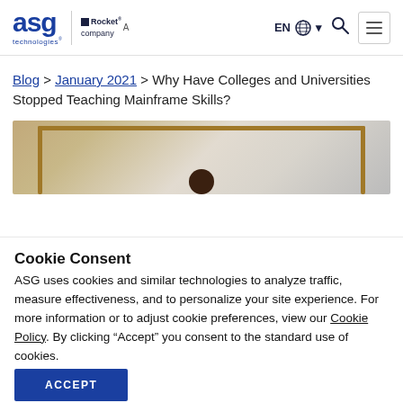[Figure (logo): ASG Technologies logo with 'A Rocket company' text]
Blog > January 2021 > Why Have Colleges and Universities Stopped Teaching Mainframe Skills?
[Figure (photo): Person with curly hair viewed from behind, sitting in front of a wooden frame structure]
Cookie Consent
ASG uses cookies and similar technologies to analyze traffic, measure effectiveness, and to personalize your site experience. For more information or to adjust cookie preferences, view our Cookie Policy. By clicking “Accept” you consent to the standard use of cookies.